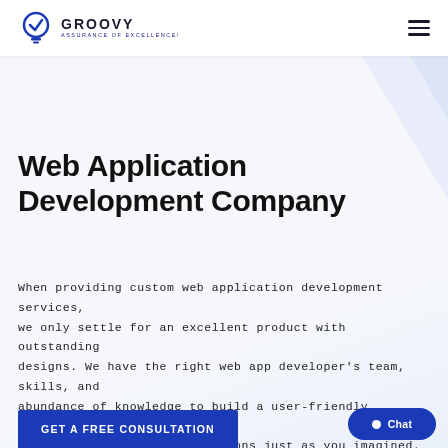GROOVY — ASSURANCE OF EXCELLENCE!
Web Application Development Company
When providing custom web application development services, we only settle for an excellent product with outstanding designs. We have the right web app developer's team, skills, and abundance of knowledge to build a user-friendly, secure, scalable custom web applications just as you imagined.
GET A FREE CONSULTATION
Chat